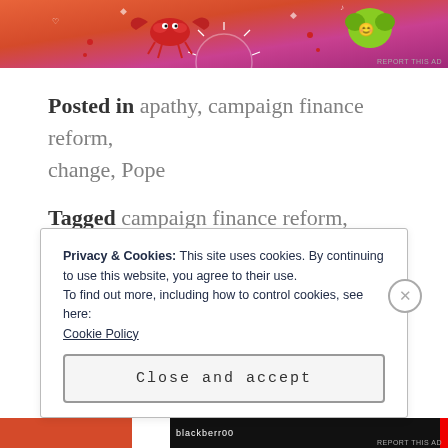[Figure (illustration): Colorful decorative advertisement banner with summer/zodiac themed illustrations including a crab, sun, and other doodles on an orange-to-pink gradient background]
Posted in apathy, campaign finance reform, change, Pope
Tagged campaign finance reform, choice, politics
Privacy & Cookies: This site uses cookies. By continuing to use this website, you agree to their use.
To find out more, including how to control cookies, see here:
Cookie Policy
Close and accept